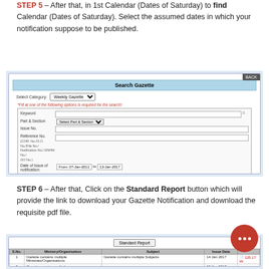STEP 5 – After that, in 1st Calendar (Dates of Saturday) to find Calendar (Dates of Saturday). Select the assumed dates in which your notification suppose to be published.
[Figure (screenshot): Screenshot of Search Gazette form with Select Category dropdown set to Weekly Gazette, fields for Keyword, Part & Section, Issue No, Reference No, Date of Issue of Notification with date range From: 07-Jan-2011 To: 13-Jan-2017, and Standard Report button.]
STEP 6 – After that, Click on the Standard Report button which will provide the link to download your Gazette Notification and download the requisite pdf file.
[Figure (screenshot): Screenshot of Standard Report results table showing Ministry/Organisation, Subject, and Issue Date columns with rows for Gazette entries.]